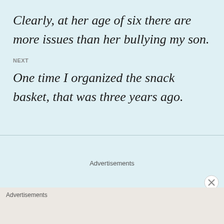Clearly, at her age of six there are more issues than her bullying my son.
NEXT
One time I organized the snack basket, that was three years ago.
Advertisements
Advertisements
[Figure (screenshot): DuckDuckGo advertisement banner: red section with text 'Search, browse, and email with more privacy. All in One Free App' and dark section with DuckDuckGo duck logo and brand name.]